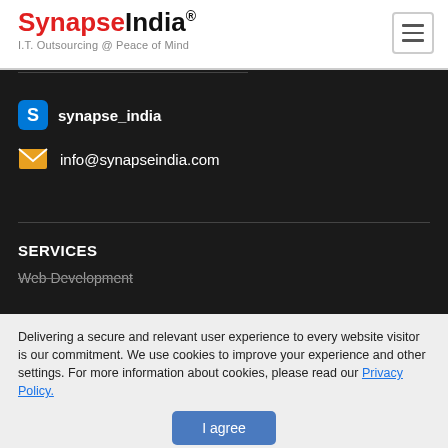[Figure (logo): SynapseIndia logo with tagline 'I.T. Outsourcing @ Peace of Mind']
synapse_india
info@synapseindia.com
SERVICES
Web Development
Delivering a secure and relevant user experience to every website visitor is our commitment. We use cookies to improve your experience and other settings. For more information about cookies, please read our Privacy Policy.
I agree